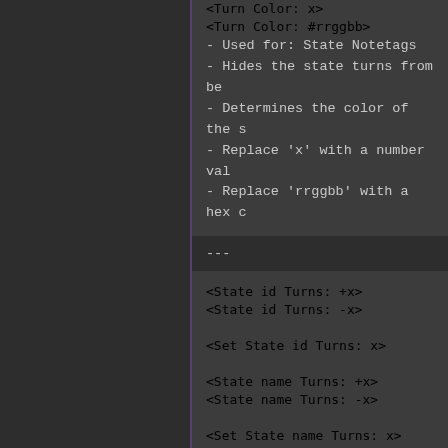<Turn Color: x>
<Turn Color: #rrggbb>
- Used for: State Notetags
- Hides the state turns from be
- Determines the color of the s
- Replace 'x' with a number val
- Replace 'rrggbb' with a hex c
---
<State id Turns: +x>
<State id Turns: -x>

<Set State id Turns: x>

<State name Turns: +x>
<State name Turns: -x>

<Set State name Turns: x>
- Used for: Skill, Item Notetag
- If the target is affected by
turn duration for target